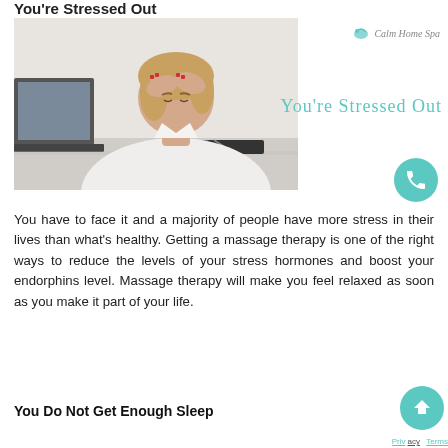You're Stressed Out
[Figure (photo): Woman sitting at a desk with a laptop, holding her head in her hands, appearing stressed. White background.]
You're Stressed Out
You have to face it and a majority of people have more stress in their lives than what's healthy. Getting a massage therapy is one of the right ways to reduce the levels of your stress hormones and boost your endorphins level. Massage therapy will make you feel relaxed as soon as you make it part of your life.
You Do Not Get Enough Sleep